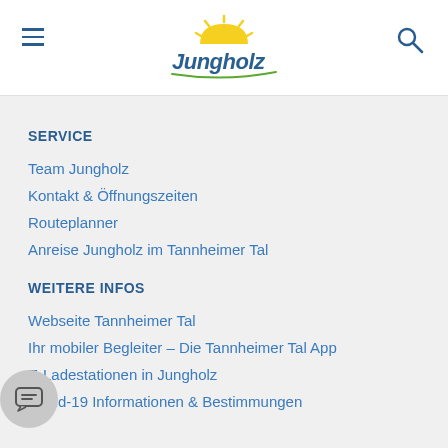[Figure (logo): Jungholz tourism logo with sun icon and stylized text]
SERVICE
Team Jungholz
Kontakt & Öffnungszeiten
Routeplanner
Anreise Jungholz im Tannheimer Tal
WEITERE INFOS
Webseite Tannheimer Tal
Ihr mobiler Begleiter – Die Tannheimer Tal App
E-Ladestationen in Jungholz
Covid-19 Informationen & Bestimmungen